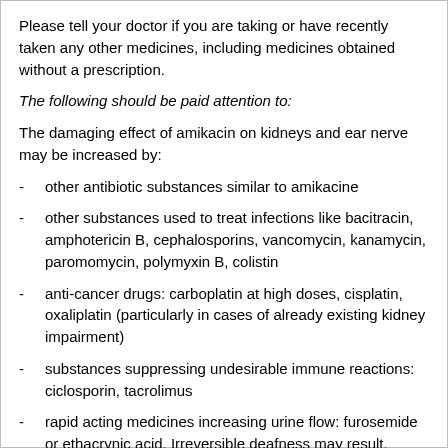Please tell your doctor if you are taking or have recently taken any other medicines, including medicines obtained without a prescription.
The following should be paid attention to:
The damaging effect of amikacin on kidneys and ear nerve may be increased by:
other antibiotic substances similar to amikacine
other substances used to treat infections like bacitracin, amphotericin B, cephalosporins, vancomycin, kanamycin, paromomycin, polymyxin B, colistin
anti-cancer drugs: carboplatin at high doses, cisplatin, oxaliplatin (particularly in cases of already existing kidney impairment)
substances suppressing undesirable immune reactions: ciclosporin, tacrolimus
rapid acting medicines increasing urine flow: furosemide or ethacrynic acid. Irreversible deafness may result.